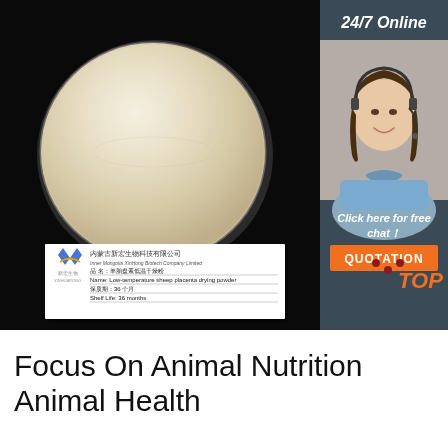[Figure (photo): Product photo showing a petri dish with beige/cream colored low-temperature sheep placenta drying powder on a black background, with a company label card visible at bottom showing Inner Mongolia XinHong Biotech Company Limited details, shelf life 36 months]
[Figure (photo): Sidebar showing a female customer service agent with headset, with '24/7 Online' text above and 'Click here for free chat!' text below, plus an orange QUOTATION button]
Focus On Animal Nutrition Animal Health